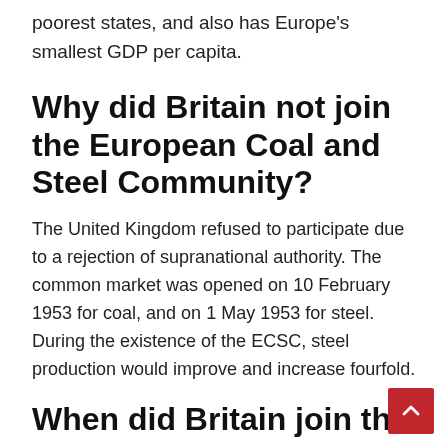poorest states, and also has Europe's smallest GDP per capita.
Why did Britain not join the European Coal and Steel Community?
The United Kingdom refused to participate due to a rejection of supranational authority. The common market was opened on 10 February 1953 for coal, and on 1 May 1953 for steel. During the existence of the ECSC, steel production would improve and increase fourfold.
When did Britain join th